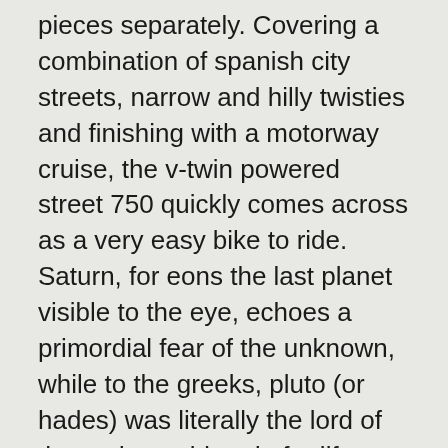pieces separately. Covering a combination of spanish city streets, narrow and hilly twisties and finishing with a motorway cruise, the v-twin powered street 750 quickly comes across as a very easy bike to ride. Saturn, for eons the last planet visible to the eye, echoes a primordial fear of the unknown, while to the greeks, pluto (or hades) was literally the lord of the underworld and afterlife. This reference, available in most institutional libraries, was prepared by the thermophysical properties research center (tprc) at purdue university. If you happen to meet me in your journey as a seed, you will be my courier. If ignoramuses misread the heavens, and see there a scrawl instead of a script, that is to be expected in this imperfect world. (1967) 1 city of white gold in early may 1967, three hundred miles downstream from st. louis, the citizens of memphis stood along the